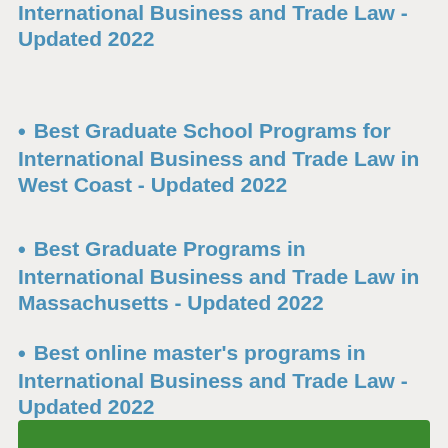International Business and Trade Law - Updated 2022
Best Graduate School Programs for International Business and Trade Law in West Coast - Updated 2022
Best Graduate Programs in International Business and Trade Law in Massachusetts - Updated 2022
Best online master's programs in International Business and Trade Law - Updated 2022